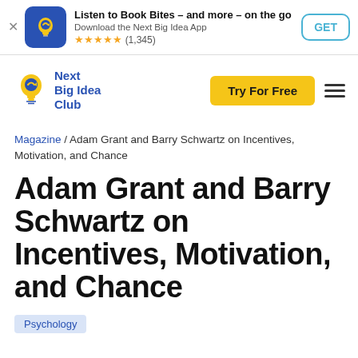[Figure (infographic): App promotion banner with Next Big Idea Club app icon (blue background with yellow lightbulb), text 'Listen to Book Bites – and more – on the go', subtitle 'Download the Next Big Idea App', star rating ★★★★★ (1,345), and a GET button]
[Figure (logo): Next Big Idea Club logo with yellow lightbulb icon and blue text, alongside a yellow 'Try For Free' button and hamburger menu icon]
Magazine / Adam Grant and Barry Schwartz on Incentives, Motivation, and Chance
Adam Grant and Barry Schwartz on Incentives, Motivation, and Chance
Psychology